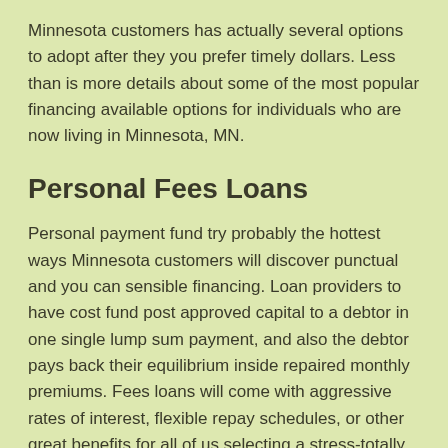Minnesota customers has actually several options to adopt after they you prefer timely dollars. Less than is more details about some of the most popular financing available options for individuals who are now living in Minnesota, MN.
Personal Fees Loans
Personal payment fund try probably the hottest ways Minnesota customers will discover punctual and you can sensible financing. Loan providers to have cost fund post approved capital to a debtor in one single lump sum payment, and also the debtor pays back their equilibrium inside repaired monthly premiums. Fees loans will come with aggressive rates of interest, flexible repay schedules, or other great benefits for all of us selecting a stress-totally free loan choice.
Payday loan